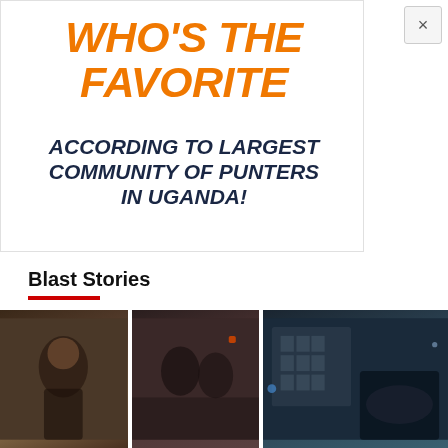[Figure (infographic): Advertisement banner with orange bold italic text 'WHO'S THE FAVORITE' and dark blue bold italic subtitle 'ACCORDING TO LARGEST COMMUNITY OF PUNTERS IN UGANDA!' on white background]
Blast Stories
[Figure (photo): Three thumbnail photos in a row: left shows a person with microphone in black and white outfit, middle shows two people in a dark setting, right shows a building and a car at night]